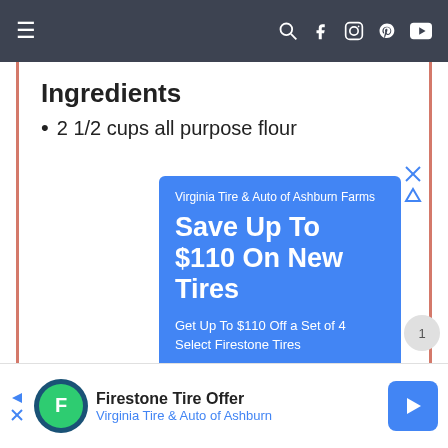≡  🔍 f 📷 𝗽 ▶
Ingredients
2 1/2 cups all purpose flour
[Figure (screenshot): Google ad for Virginia Tire & Auto of Ashburn Farms: 'Save Up To $110 On New Tires - Get Up To $110 Off a Set of 4 Select Firestone Tires' with blue background, and a map showing Patel Brothers location]
[Figure (screenshot): Bottom banner ad: Firestone Tire Offer - Virginia Tire & Auto of Ashburn, with Firestone logo and blue arrow navigation icon]